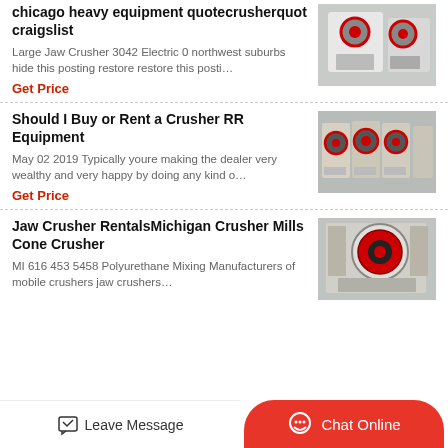chicago heavy equipment quotecrusherquot craigslist
Large Jaw Crusher 3042 Electric 0 northwest suburbs hide this posting restore restore this posti…
Get Price
[Figure (photo): Industrial jaw crusher machine, white and red color, in a factory setting]
Should I Buy or Rent a Crusher RR Equipment
May 02 2019 Typically youre making the dealer very wealthy and very happy by doing any kind o…
Get Price
[Figure (photo): Row of jaw crusher machines in a large factory or warehouse]
Jaw Crusher RentalsMichigan Crusher Mills Cone Crusher
MI 616 453 5458 Polyurethane Mixing Manufacturers of mobile crushers jaw crushers…
[Figure (photo): Large jaw crusher machine with red and black flywheel in industrial facility]